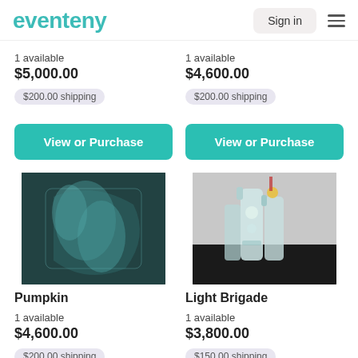eventeny  Sign in
1 available
$5,000.00  $200.00 shipping
1 available
$4,600.00  $200.00 shipping
View or Purchase
View or Purchase
[Figure (photo): Close-up photo of dark teal/blue glass art piece]
[Figure (photo): Photo of glass bottles/vases art pieces with colorful decorations]
Pumpkin
1 available
$4,600.00  $200.00 shipping
Light Brigade
1 available
$3,800.00  $150.00 shipping